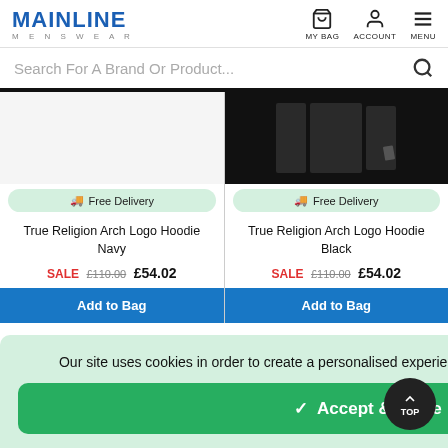[Figure (screenshot): Mainline Menswear website header with logo, MY BAG, ACCOUNT, and MENU navigation icons]
Search For A Brand Or Product...
[Figure (photo): True Religion Arch Logo Hoodie Navy product image (left column, partially visible)]
[Figure (photo): True Religion Arch Logo Hoodie Black product image showing dark folded garments on black background]
Free Delivery
Free Delivery
True Religion Arch Logo Hoodie Navy
True Religion Arch Logo Hoodie Black
SALE £110.00 £54.02
SALE £110.00 £54.02
Add to Bag
Add to Bag
mage for True ew Neck : Blue
Our site uses cookies in order to create a personalised experience. You can read more in our cookie policy.
✓ Accept & Close